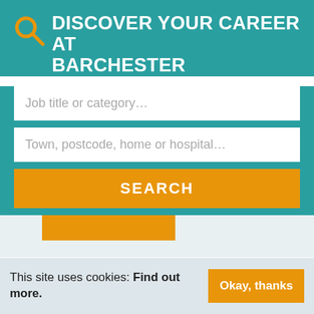DISCOVER YOUR CAREER AT BARCHESTER
Job title or category…
Town, postcode, home or hospital…
SEARCH
Viewing all Jobs
1  2  3  4  11  Next
REFINE JOB SEARCH
This site uses cookies: Find out more.
Okay, thanks